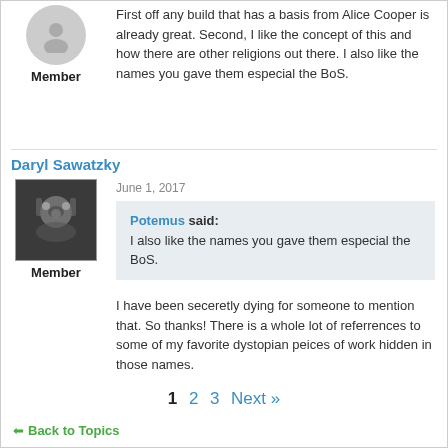First off any build that has a basis from Alice Cooper is already great. Second, I like the concept of this and how there are other religions out there. I also like the names you gave them especial the BoS.
Member
Daryl Sawatzky
June 1, 2017
Member
Potemus said: I also like the names you gave them especial the BoS.
I have been seceretly dying for someone to mention that. So thanks! There is a whole lot of referrences to some of my favorite dystopian peices of work hidden in those names.
1  2  3  Next »
← Back to Topics